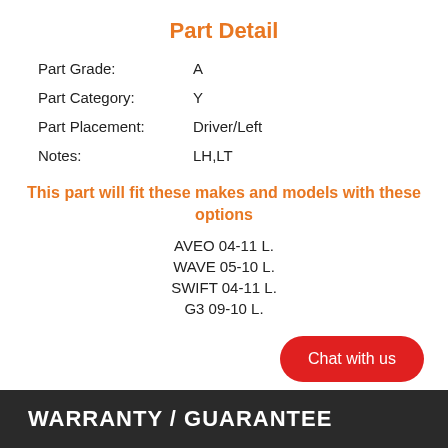Part Detail
Part Grade: A
Part Category: Y
Part Placement: Driver/Left
Notes: LH,LT
This part will fit these makes and models with these options
AVEO 04-11 L.
WAVE 05-10 L.
SWIFT 04-11 L.
G3 09-10 L.
Chat with us
WARRANTY / GUARANTEE